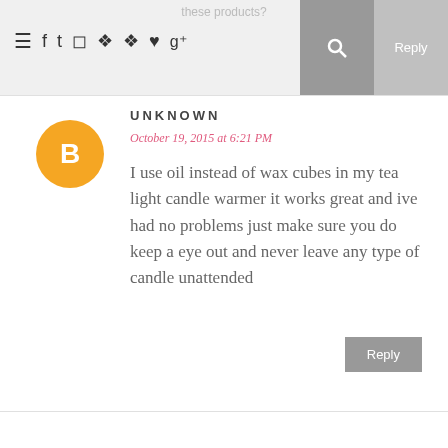these products?
UNKNOWN
October 19, 2015 at 6:21 PM
I use oil instead of wax cubes in my tea light candle warmer it works great and ive had no problems just make sure you do keep a eye out and never leave any type of candle unattended